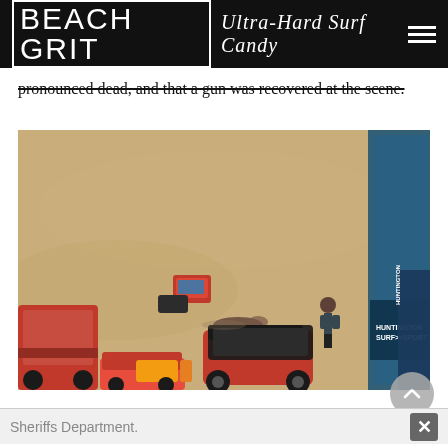BEACH GRIT Ultra-Hard Surf Candy
pronounced dead, and that a gun was recovered at the scene.
[Figure (photo): Aerial view of a beach scene showing emergency vehicles, a red buggy, equipment on sand, a person standing, and tents including a Huntington Surf & Sport branded tent in the lower right.]
The incident is now being investigated by the Orange County Sheriffs Department.